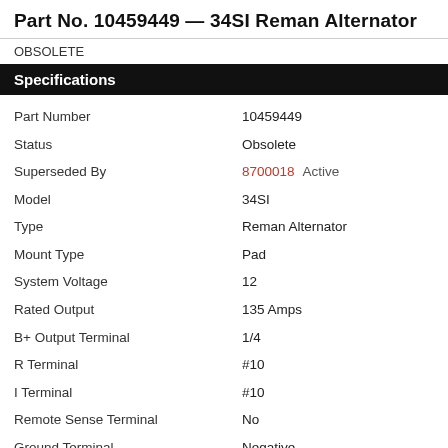Part No. 10459449 — 34SI Reman Alternator
OBSOLETE
Specifications
| Field | Value |
| --- | --- |
| Part Number | 10459449 |
| Status | Obsolete |
| Superseded By | 8700018   Active |
| Model | 34SI |
| Type | Reman Alternator |
| Mount Type | Pad |
| System Voltage | 12 |
| Rated Output | 135 Amps |
| B+ Output Terminal | 1/4 |
| R Terminal | #10 |
| I Terminal | #10 |
| Remote Sense Terminal | No |
| Ground Terminal | Negative |
Documents
Installation Instructions